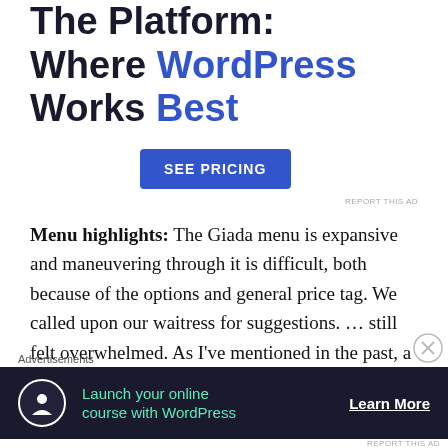The Platform: Where WordPress Works Best
[Figure (other): SEE PRICING button (blue rectangle)]
REPORT THIS AD
Menu highlights: The Giada menu is expansive and maneuvering through it is difficult, both because of the options and general price tag. We called upon our waitress for suggestions. ... still felt overwhelmed. As I've mentioned in the past, a bread basket is a great way to give a good first impression, and Giada tries to win you over right away in just this way. The bread
Advertisements
[Figure (infographic): Dark advertisement banner: circle icon with tree/person logo, text 'Launch your online course with WordPress', 'Learn More' link]